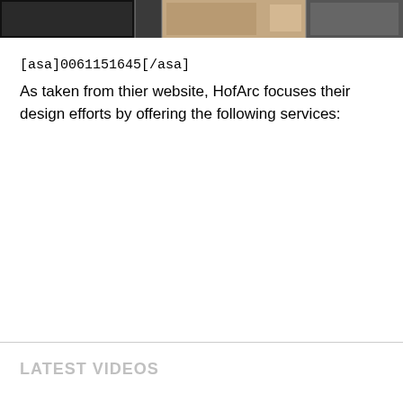[Figure (photo): Partial view of interior room photos, dark tones, appears to be furniture or architectural interior shots, cropped at top of page]
[asa]0061151645[/asa]
As taken from thier website, HofArc focuses their design efforts by offering the following services:
LATEST VIDEOS